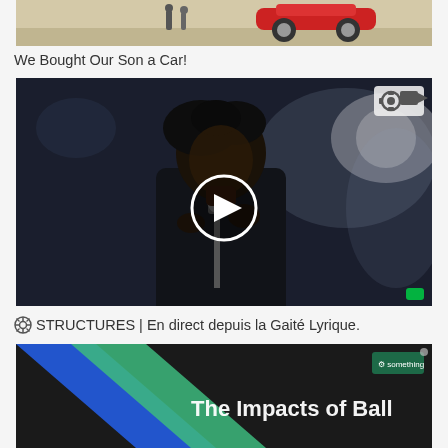[Figure (screenshot): Top portion of a video thumbnail showing a car scene with a red vehicle visible]
We Bought Our Son a Car!
[Figure (screenshot): Video thumbnail of a male performer singing into a microphone on stage with dramatic blue/dark lighting and a play button overlay. A gear/settings icon is visible in the top right corner.]
⚙ STRUCTURES | En direct depuis la Gaité Lyrique.
[Figure (screenshot): Bottom video thumbnail showing a dark background with blue and green chevron/arrow shapes and the partial text 'The Impacts of Ball' in white on a dark background. A small icon is visible in the top right.]